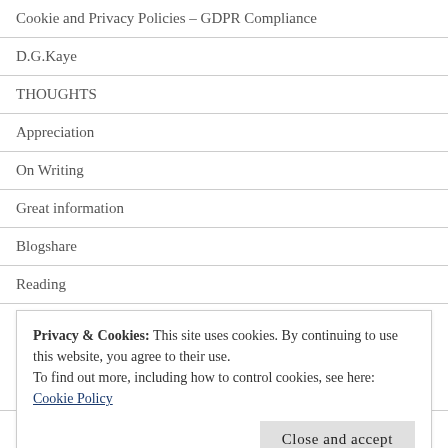Cookie and Privacy Policies – GDPR Compliance
D.G.Kaye
THOUGHTS
Appreciation
On Writing
Great information
Blogshare
Reading
Book Reviews
Privacy & Cookies: This site uses cookies. By continuing to use this website, you agree to their use.
To find out more, including how to control cookies, see here: Cookie Policy
Close and accept
Angels and Empaths – Sisters of the Fey